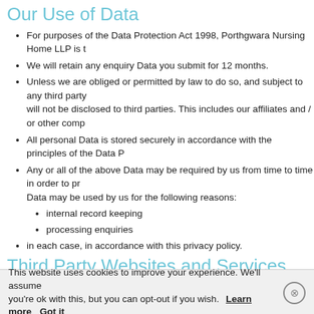Our Use of Data
For purposes of the Data Protection Act 1998, Porthgwara Nursing Home LLP is t...
We will retain any enquiry Data you submit for 12 months.
Unless we are obliged or permitted by law to do so, and subject to any third party... will not be disclosed to third parties. This includes our affiliates and / or other comp...
All personal Data is stored securely in accordance with the principles of the Data P...
Any or all of the above Data may be required by us from time to time in order to pr... Data may be used by us for the following reasons:
internal record keeping
processing enquiries
in each case, in accordance with this privacy policy.
Third Party Websites and Services
Porthgwara Nursing Home LLP may, from time to time, employ the services of oth... providers of such services have access to certain personal Data provided by User...
Any Data used by such parties is used only to the extent required by them to perf... any Data that is processed by third parties will be processed within the terms of th...
If you require a full list of suppliers that may have access to your personal data the... john@lyndu.co.uk.
Links to Other Websites
This website uses cookies to improve your experience. We'll assume you're ok with this, but you can opt-out if you wish. Learn more Got it